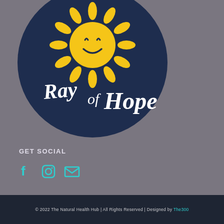[Figure (logo): Ray of Hope logo: dark navy circular background with a smiling yellow sun and white handwritten text 'Ray of Hope']
GET SOCIAL
[Figure (infographic): Three social media icons: Facebook (f), Instagram (camera), and email (envelope) in teal/cyan color]
© 2022 The Natural Health Hub | All Rights Reserved | Designed by The300